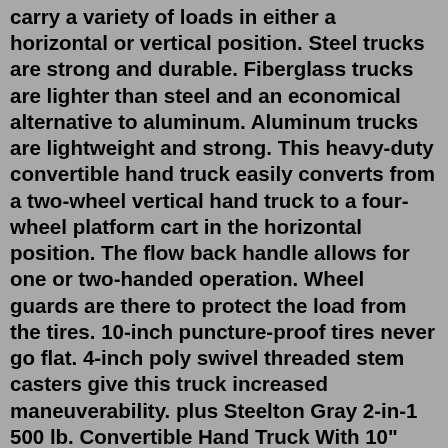carry a variety of loads in either a horizontal or vertical position. Steel trucks are strong and durable. Fiberglass trucks are lighter than steel and an economical alternative to aluminum. Aluminum trucks are lightweight and strong. This heavy-duty convertible hand truck easily converts from a two-wheel vertical hand truck to a four-wheel platform cart in the horizontal position. The flow back handle allows for one or two-handed operation. Wheel guards are there to protect the load from the tires. 10-inch puncture-proof tires never go flat. 4-inch poly swivel threaded stem casters give this truck increased maneuverability. plus Steelton Gray 2-in-1 500 lb. Convertible Hand Truck With 10" Solid Rubber Wheels. #503hdth21gr. $68.99 /Each. plus Steelton Gray 600 lb. Hand Truck With 10" Solid Rubber Wheels. #503hdth600gr. $40.49 /Each. $44.99. plus Lavex Industrial Blue 600 lb. Hand Truck With 10" Pneumatic Wheels. #503hdtp600bl. This 3 in 1 aluminum convertible hand truck converts easily from hand truck to 45 degree incline truck or